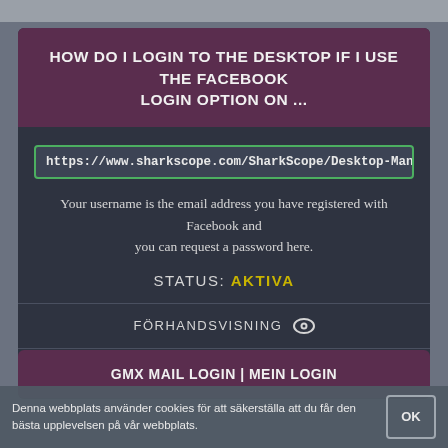HOW DO I LOGIN TO THE DESKTOP IF I USE THE FACEBOOK LOGIN OPTION ON ...
https://www.sharkscope.com/SharkScope/Desktop-Manual/1/en/topic/h
Your username is the email address you have registered with Facebook and you can request a password here.
STATUS: AKTIVA
FÖRHANDSVISNING 👁
LADDA NER ⬇
GMX MAIL LOGIN | MEIN LOGIN
Denna webbplats använder cookies för att säkerställa att du får den bästa upplevelsen på vår webbplats.